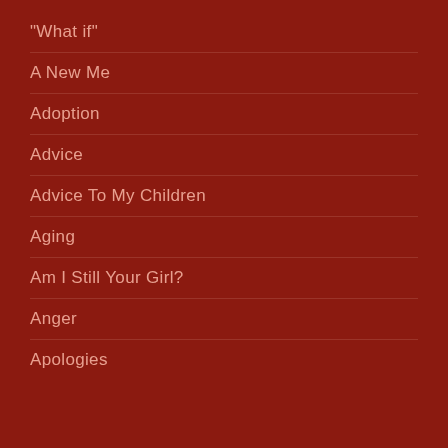"What if"
A New Me
Adoption
Advice
Advice To My Children
Aging
Am I Still Your Girl?
Anger
Apologies